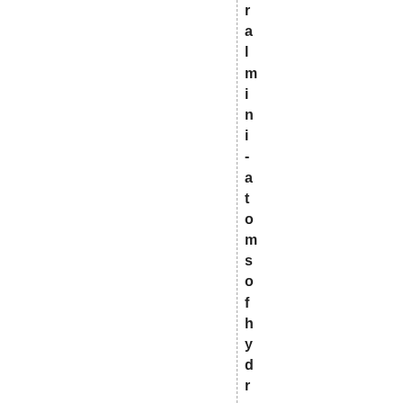r a l m i n i - a t o m s o f h y d r o g e n w i t h t h e